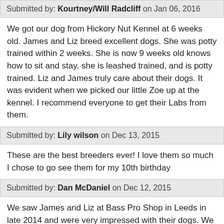Submitted by: Kourtney/Will Radcliff on Jan 06, 2016
We got our dog from Hickory Nut Kennel at 6 weeks old. James and Liz breed excellent dogs. She was potty trained within 2 weeks. She is now 9 weeks old knows how to sit and stay, she is leashed trained, and is potty trained. Liz and James truly care about their dogs. It was evident when we picked our little Zoe up at the kennel. I recommend everyone to get their Labs from them.
Submitted by: Lily wilson on Dec 13, 2015
These are the best breeders ever! I love them so much I chose to go see them for my 10th birthday
Submitted by: Dan McDaniel on Dec 12, 2015
We saw James and Liz at Bass Pro Shop in Leeds in late 2014 and were very impressed with their dogs. We talked about getting a puppy for almost a year and then decided to have another look. About 3 weeks ago when James and Liz